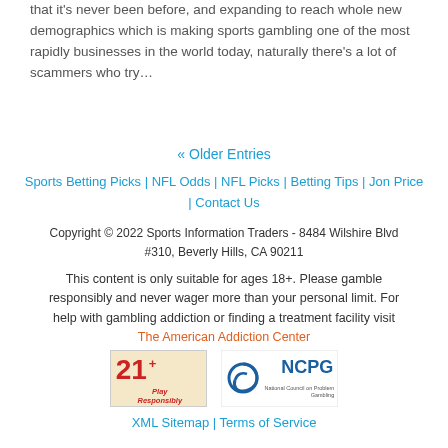that it's never been before, and expanding to reach whole new demographics which is making sports gambling one of the most rapidly businesses in the world today, naturally there's a lot of scammers who try…
« Older Entries
Sports Betting Picks | NFL Odds | NFL Picks | Betting Tips | Jon Price | Contact Us
Copyright © 2022 Sports Information Traders - 8484 Wilshire Blvd #310, Beverly Hills, CA 90211
This content is only suitable for ages 18+. Please gamble responsibly and never wager more than your personal limit. For help with gambling addiction or finding a treatment facility visit The American Addiction Center
[Figure (logo): 21+ Play Responsibly logo and NCPG National Council on Problem Gambling logo]
XML Sitemap | Terms of Service